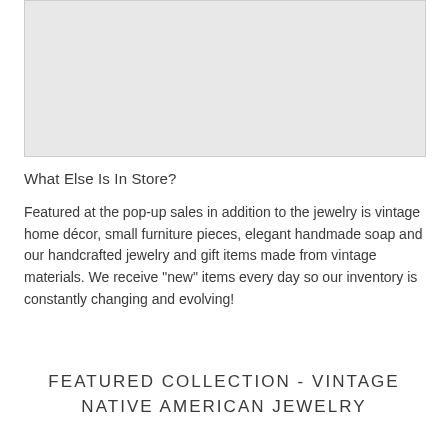[Figure (photo): Light gray rectangular image placeholder at the top of the page]
What Else Is In Store?
Featured at the pop-up sales in addition to the jewelry is vintage home décor, small furniture pieces, elegant handmade soap and our handcrafted jewelry and gift items made from vintage materials. We receive "new" items every day so our inventory is constantly changing and evolving!
FEATURED COLLECTION - VINTAGE NATIVE AMERICAN JEWELRY